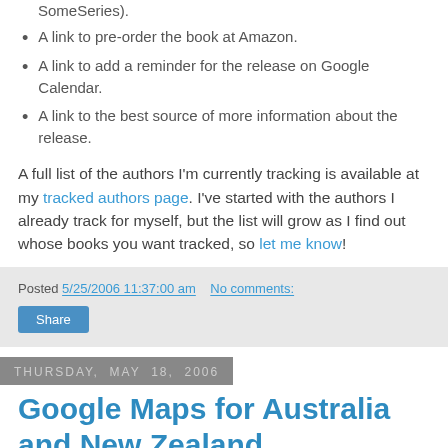SomeSeries).
A link to pre-order the book at Amazon.
A link to add a reminder for the release on Google Calendar.
A link to the best source of more information about the release.
A full list of the authors I'm currently tracking is available at my tracked authors page. I've started with the authors I already track for myself, but the list will grow as I find out whose books you want tracked, so let me know!
Posted 5/25/2006 11:37:00 am   No comments:
Share
Thursday, May 18, 2006
Google Maps for Australia and New Zealand